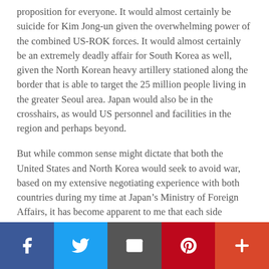proposition for everyone. It would almost certainly be suicide for Kim Jong-un given the overwhelming power of the combined US-ROK forces. It would almost certainly be an extremely deadly affair for South Korea as well, given the North Korean heavy artillery stationed along the border that is able to target the 25 million people living in the greater Seoul area. Japan would also be in the crosshairs, as would US personnel and facilities in the region and perhaps beyond.
But while common sense might dictate that both the United States and North Korea would seek to avoid war, based on my extensive negotiating experience with both countries during my time at Japan’s Ministry of Foreign Affairs, it has become apparent to me that each side fundamentally misunderstands the other, so the risk of misperception and miscalculation leading to an accidental military conflict may be higher than many realize.
[Figure (infographic): Social media sharing bar with icons for Facebook, Twitter, Email, Pinterest, and a plus/more button]